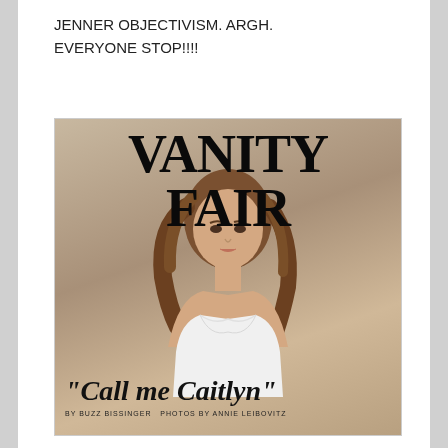JENNER OBJECTIVISM. ARGH. EVERYONE STOP!!!!
[Figure (photo): Screenshot of a social media post showing the Vanity Fair magazine cover featuring Caitlyn Jenner in a white strapless corset, with long brown hair, against a warm metallic background. The cover reads 'VANITY FAIR' in large bold serif letters at the top, and '"Call me Caitlyn"' in large italic serif font at the bottom, with a byline reading 'by BUZZ BISSINGER Photos by ANNIE LEIBOVITZ'.]